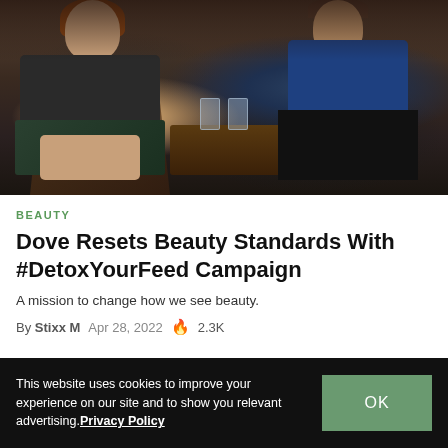[Figure (photo): Two women sitting across from each other in chairs at a table in a dark interior setting. The woman on the left has red hair and is wearing a dark hoodie and patterned skirt, with hands raised near her face. The woman on the right is wearing a blue long-sleeve top and dark pants.]
BEAUTY
Dove Resets Beauty Standards With #DetoxYourFeed Campaign
A mission to change how we see beauty.
By Stixx M   Apr 28, 2022   🔥 2.3K
This website uses cookies to improve your experience on our site and to show you relevant advertising. Privacy Policy